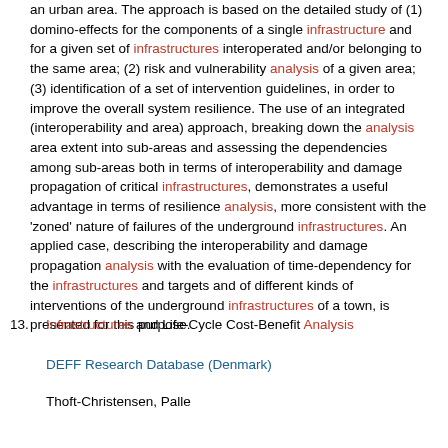an urban area. The approach is based on the detailed study of (1) domino-effects for the components of a single infrastructure and for a given set of infrastructures interoperated and/or belonging to the same area; (2) risk and vulnerability analysis of a given area; (3) identification of a set of intervention guidelines, in order to improve the overall system resilience. The use of an integrated (interoperability and area) approach, breaking down the analysis area extent into sub-areas and assessing the dependencies among sub-areas both in terms of interoperability and damage propagation of critical infrastructures, demonstrates a useful advantage in terms of resilience analysis, more consistent with the 'zoned' nature of failures of the underground infrastructures. An applied case, describing the interoperability and damage propagation analysis with the evaluation of time-dependency for the infrastructures and targets and of different kinds of interventions of the underground infrastructures of a town, is presented for this purpose.
13. Infrastructures and Life-Cycle Cost-Benefit Analysis
DEFF Research Database (Denmark)
Thoft-Christensen, Palle